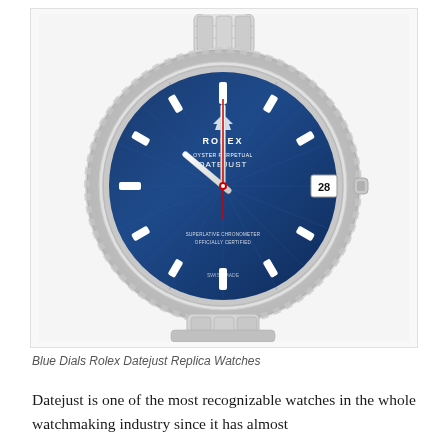[Figure (photo): A Rolex Datejust watch with a blue sunray dial, fluted white gold bezel, silver-toned stainless steel Oyster bracelet, and a date window showing '28'. The watch is photographed on a white background.]
Blue Dials Rolex Datejust Replica Watches
Datejust is one of the most recognizable watches in the whole watchmaking industry since it has almost